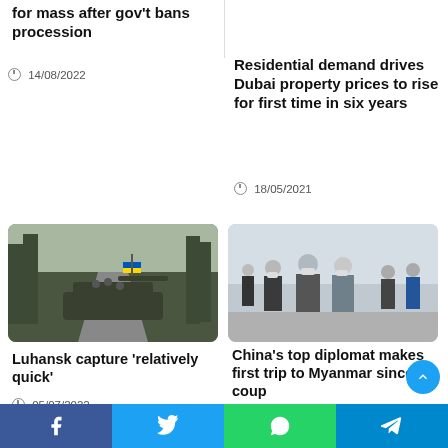for mass after gov't bans procession
14/08/2022
Residential demand drives Dubai property prices to rise for first time in six years
18/05/2021
[Figure (photo): Military vehicle with Ukrainian flag on a rural road surrounded by trees]
[Figure (photo): Group of people in suits and masks walking, Chinese diplomat in Myanmar]
Luhansk capture ‘relatively quick’
05/07/2022
China’s top diplomat makes first trip to Myanmar since coup
03/07/2022